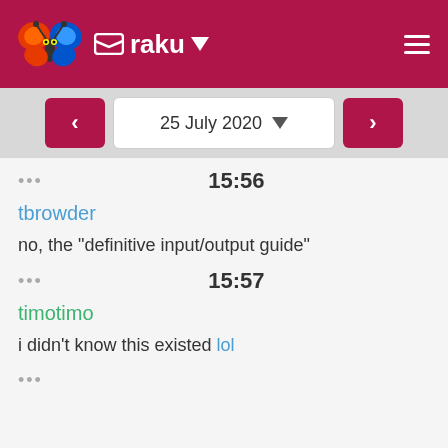raku
25 July 2020
••• 15:56
tbrowder
no, the "definitive input/output guide"
••• 15:57
timotimo
i didn't know this existed lol
•••